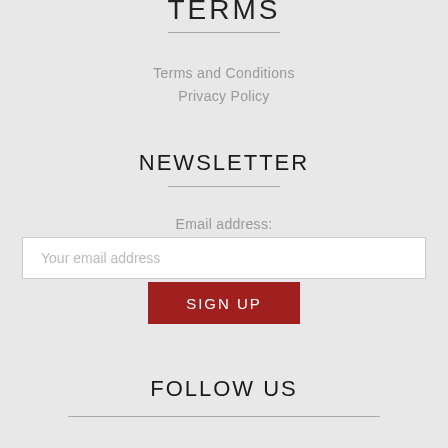TERMS
Terms and Conditions
Privacy Policy
NEWSLETTER
Email address:
Your email address
SIGN UP
FOLLOW US